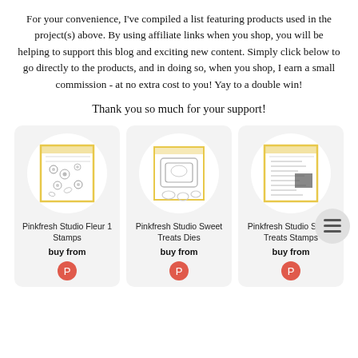For your convenience, I've compiled a list featuring products used in the project(s) above. By using affiliate links when you shop, you will be helping to support this blog and exciting new content. Simply click below to go directly to the products, and in doing so, when you shop, I earn a small commission - at no extra cost to you! Yay to a double win!
Thank you so much for your support!
[Figure (other): Product card showing Pinkfresh Studio Fleur 1 Stamps with a circular thumbnail of the stamp set on a light grey card background, with 'buy from' text and a red circular icon below.]
[Figure (other): Product card showing Pinkfresh Studio Sweet Treats Dies with a circular thumbnail of the die set on a light grey card background, with 'buy from' text and a red circular icon below.]
[Figure (other): Product card showing Pinkfresh Studio Sweet Treats Stamps with a circular thumbnail of the stamp set on a light grey card background, overlaid with a hamburger menu icon, with 'buy from' text and a red circular icon below.]